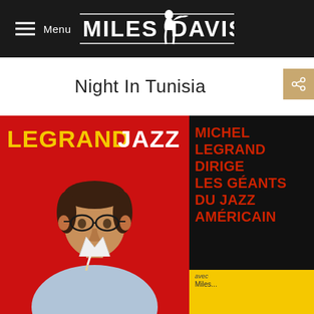Menu | MILES DAVIS
Night In Tunisia
[Figure (photo): Album cover for 'Legrand Jazz' by Michel Legrand featuring red background, yellow 'LEGRAND' text, white 'JAZZ' text, photo of Michel Legrand smoking, and black right panel with red text reading 'MICHEL LEGRAND DIRIGE LES GÉANTS DU JAZZ AMÉRICAIN' and a yellow bottom strip.]